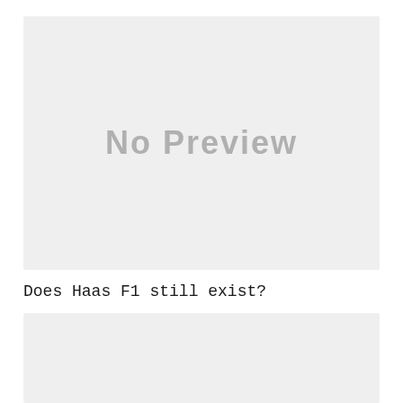[Figure (other): A grey placeholder box displaying 'No Preview' text in large grey letters]
Does Haas F1 still exist?
[Figure (other): A second grey placeholder box with no text, partially visible at bottom of page]